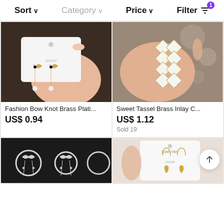Sort  Category  Price  Filter
[Figure (photo): Hand holding gold bow knot earrings with pearl drops on a display card]
Fashion Bow Knot Brass Plati...
US$ 0.94
[Figure (photo): Hand holding sweet tassel brass inlay diamond-pattern drop earrings]
Sweet Tassel Brass Inlay C...
US$ 1.12
Sold 19
[Figure (photo): Bow knot hoop earrings with crystal chains on dark background]
[Figure (photo): Hand holding small heart drop earrings on QIAN YAN brand card]